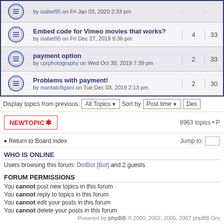Embed code for Vimeo movies that works? by isabel95 on Fri Dec 27, 2019 9:36 pm | 4 | 33
payment option by cprphotography on Wed Oct 30, 2019 7:39 pm | 2 | 33
Problems with payment! by maritatoftgard on Tue Dec 03, 2019 2:13 pm | 2 | 30
Display topics from previous: All Topics Sort by Post time Des
NEWTOPIC* 8963 topics • P
Return to Board index Jump to:
WHO IS ONLINE
Users browsing this forum: DotBot [Bot] and 2 guests
FORUM PERMISSIONS
You cannot post new topics in this forum
You cannot reply to topics in this forum
You cannot edit your posts in this forum
You cannot delete your posts in this forum
Powered by phpBB © 2000, 2002, 2005, 2007 phpBB Gro